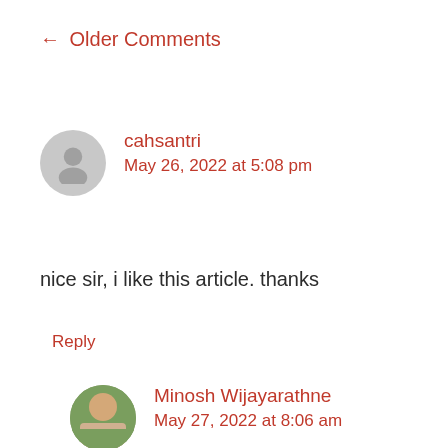← Older Comments
cahsantri
May 26, 2022 at 5:08 pm
nice sir, i like this article. thanks
Reply
Minosh Wijayarathne
May 27, 2022 at 8:06 am